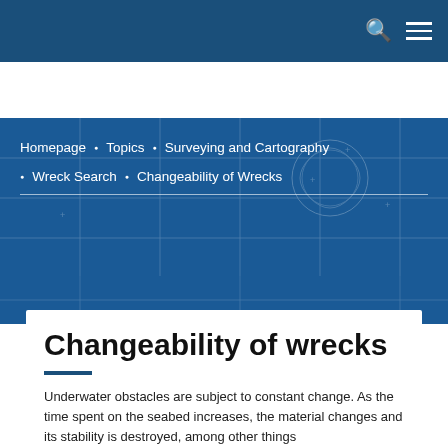Homepage • Topics • Surveying and Cartography • Wreck Search • Changeability of Wrecks
Changeability of wrecks
Underwater obstacles are subject to constant change. As the time spent on the seabed increases, the material changes and its stability is destroyed, among other things